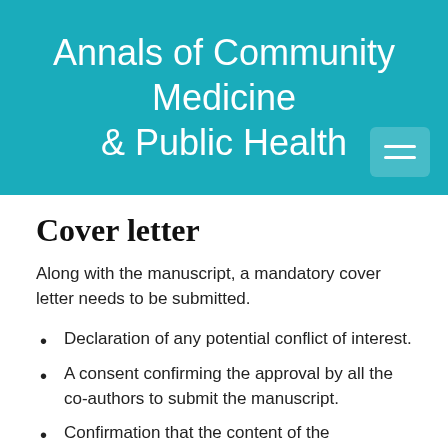Annals of Community Medicine & Public Health
Cover letter
Along with the manuscript, a mandatory cover letter needs to be submitted.
Declaration of any potential conflict of interest.
A consent confirming the approval by all the co-authors to submit the manuscript.
Confirmation that the content of the manuscript has not been published or submitted for publication elsewhere.